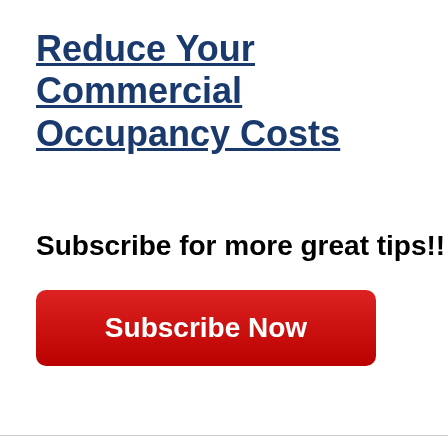Reduce Your Commercial Occupancy Costs
Subscribe for more great tips!!
Subscribe Now